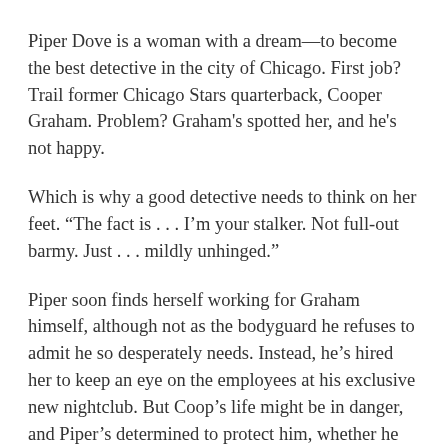Piper Dove is a woman with a dream—to become the best detective in the city of Chicago. First job? Trail former Chicago Stars quarterback, Cooper Graham. Problem? Graham's spotted her, and he's not happy.
Which is why a good detective needs to think on her feet. “The fact is . . . I’m your stalker. Not full-out barmy. Just . . . mildly unhinged.”
Piper soon finds herself working for Graham himself, although not as the bodyguard he refuses to admit he so desperately needs. Instead, he’s hired her to keep an eye on the employees at his exclusive new nightclub. But Coop’s life might be in danger, and Piper’s determined to protect him, whether he wants it or not. (Hint: Not!) If only she weren’t also dealing with a bevy of Middle Eastern princesses, a Pakistani servant girl yearning for freedom, a teenager who just wants of fit in, and an elderly neighbor demanding Piper find her very dead husband.
And then there’s Cooper Graham himself, a legendary